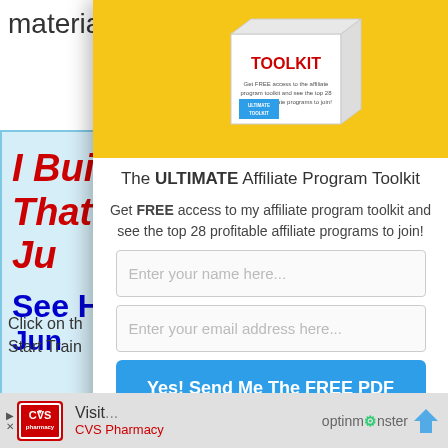materials fro
I Built
That M
Ju
See H
Jun
Click on th
Start Train
[Figure (photo): White box product image labeled 'ULTIMATE Affiliate Program TOOLKIT' on yellow background]
The ULTIMATE Affiliate Program Toolkit
Get FREE access to my affiliate program toolkit and see the top 28 profitable affiliate programs to join!
Enter your name here...
Enter your email address here...
Yes! Send Me The FREE PDF
Visit
CVS Pharmacy | optinmonster